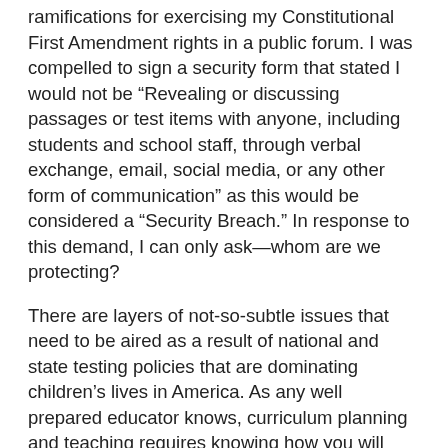ramifications for exercising my Constitutional First Amendment rights in a public forum. I was compelled to sign a security form that stated I would not be “Revealing or discussing passages or test items with anyone, including students and school staff, through verbal exchange, email, social media, or any other form of communication” as this would be considered a “Security Breach.” In response to this demand, I can only ask—whom are we protecting?
There are layers of not-so-subtle issues that need to be aired as a result of national and state testing policies that are dominating children’s lives in America. As any well prepared educator knows, curriculum planning and teaching requires knowing how you will assess your students and planning backwards from that knowledge. If teachers are unable to examine and discuss the summative assessment for their students, how can they plan their instruction? Yet, that very question assumes that this test is something worth planning for. The fact is that schools that try to plan their curriculum exclusively to prepare students for this test are ignoring the body of educational research that tells us how children learn, and how to create developmentally appropriate activities to